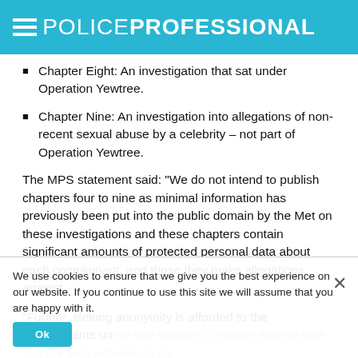POLICE PROFESSIONAL
Chapter Eight: An investigation that sat under Operation Yewtree.
Chapter Nine: An investigation into allegations of non-recent sexual abuse by a celebrity – not part of Operation Yewtree.
The MPS statement said: “We do not intend to publish chapters four to nine as minimal information has previously been put into the public domain by the Met on these investigations and these chapters contain significant amounts of protected personal data about each complainant, and those they make allegations against.
“Further, lifelong anonymity is afforded to the complainants under the Sexual Offences (Amendment) Act 1992 to prevent their identification. In summary, there is no over-riding policing purpose that would over-rule these exemptions and therefore we do not believe we can lawfully or morally do so.”
We use cookies to ensure that we give you the best experience on our website. If you continue to use this site we will assume that you are happy with it.